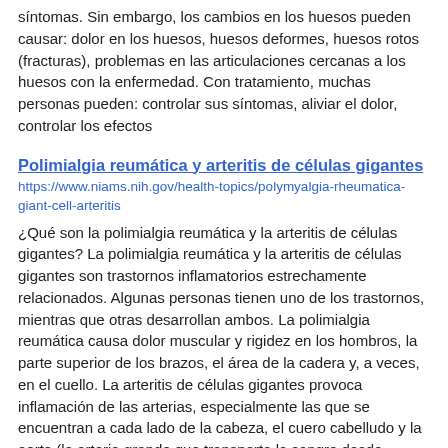síntomas. Sin embargo, los cambios en los huesos pueden causar: dolor en los huesos, huesos deformes, huesos rotos (fracturas), problemas en las articulaciones cercanas a los huesos con la enfermedad. Con tratamiento, muchas personas pueden: controlar sus síntomas, aliviar el dolor, controlar los efectos
Polimialgia reumática y arteritis de células gigantes
https://www.niams.nih.gov/health-topics/polymyalgia-rheumatica-giant-cell-arteritis
¿Qué son la polimialgia reumática y la arteritis de células gigantes? La polimialgia reumática y la arteritis de células gigantes son trastornos inflamatorios estrechamente relacionados. Algunas personas tienen uno de los trastornos, mientras que otras desarrollan ambos. La polimialgia reumática causa dolor muscular y rigidez en los hombros, la parte superior de los brazos, el área de la cadera y, a veces, en el cuello. La arteritis de células gigantes provoca inflamación de las arterias, especialmente las que se encuentran a cada lado de la cabeza, el cuero cabelludo y la aorta (la arteria grande que transporta la sangre desde
Psoriasis
https://www.niams.nih.gov/health-topics/psoriasis